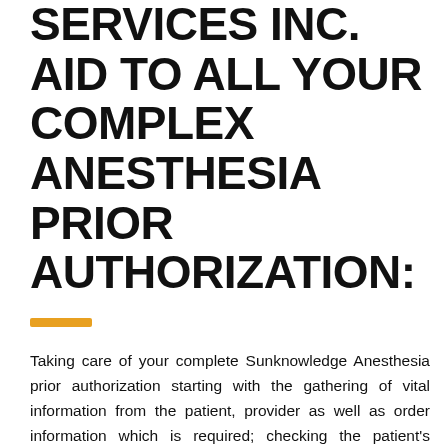SERVICES INC. AID TO ALL YOUR COMPLEX ANESTHESIA PRIOR AUTHORIZATION:
Taking care of your complete Sunknowledge Anesthesia prior authorization starting with the gathering of vital information from the patient, provider as well as order information which is required; checking the patient's eligibility; communicate and validate prior auth request with the payers; initiate PA requests as per the payer protocols. Once it is done our experts further take care and continuously monitoring ensure stringent checks and follow-up with the payer for checking the auth status; follow-up with ordering physician for the additional